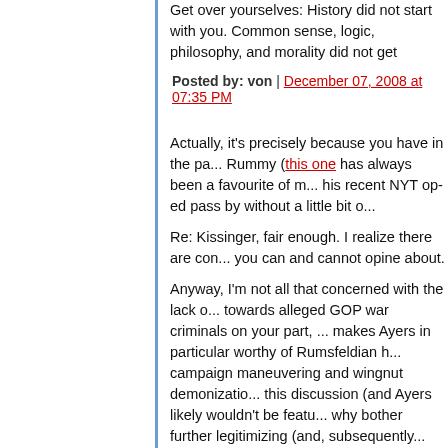Get over yourselves: History did not start with you. Common sense, logic, philosophy, and morality did not get invented by you.
Posted by: von | December 07, 2008 at 07:35 PM
Actually, it's precisely because you have in the past cited Rummy (this one has always been a favourite of mine) and his recent NYT op-ed pass by without a little bit of...
Re: Kissinger, fair enough. I realize there are constraints on what you can and cannot opine about.
Anyway, I'm not all that concerned with the lack of outrage towards alleged GOP war criminals on your part, but what makes Ayers in particular worthy of Rumsfeldian handling? campaign maneuvering and wingnut demonization introduced this discussion (and Ayers likely wouldn't be featured here), why bother further legitimizing (and, subsequently, lending legitimacy to) that was originally erected by disingenuous outrage by those who associated Obama by (vague) association?
If one really wants Ayers to go away, stop making...
Posted by: matttbastard | December 07, 2008 at 07:47 PM